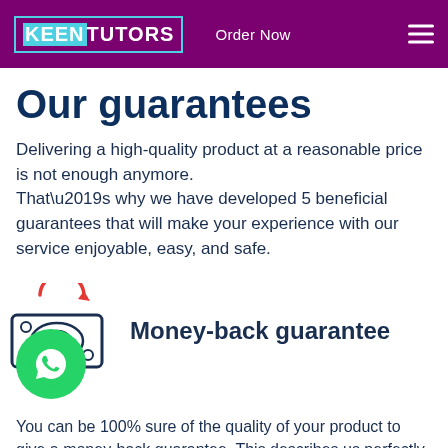KEEN TUTORS   Order Now
Our guarantees
Delivering a high-quality product at a reasonable price is not enough anymore.
That’s why we have developed 5 beneficial guarantees that will make your experience with our service enjoyable, easy, and safe.
[Figure (illustration): Money/cash icon with red circular arrow above it, and a WhatsApp green circle badge overlapping the bottom left]
Money-back guarantee
You can be 100% sure of the quality of your product to give a money-back guarantee. This describes us perfectly. Make sure that this guarantee is totally transparent.